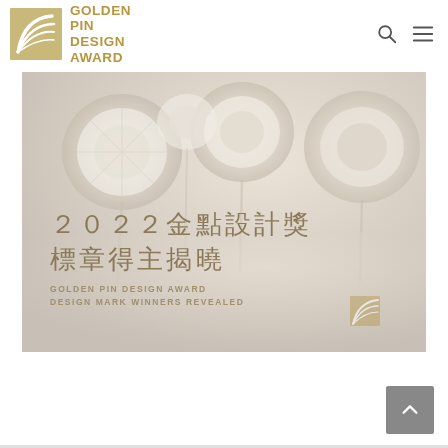GOLDEN PIN DESIGN AWARD
[Figure (photo): Hero banner image showing decorative pin/rosette awards against a light warm background, with overlaid Chinese and English text announcing the 2022 Golden Pin Design Award Design Mark Winners Revealed]
２０２２金點設計獎
標章得主揭曉
GOLDEN PIN DESIGN AWARD
DESIGN MARK WINNERS REVEALED